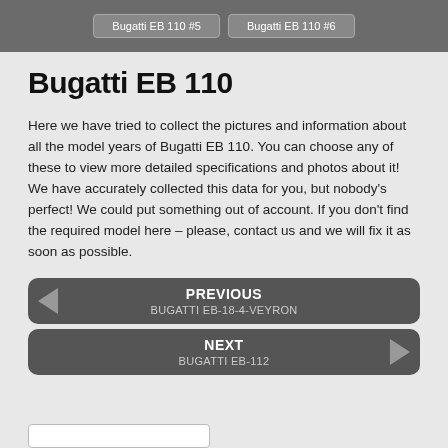[Figure (other): Navigation tabs showing Bugatti EB 110 #5 and Bugatti EB 110 #6 buttons on a dark grey bar]
Bugatti EB 110
Here we have tried to collect the pictures and information about all the model years of Bugatti EB 110. You can choose any of these to view more detailed specifications and photos about it! We have accurately collected this data for you, but nobody's perfect! We could put something out of account. If you don't find the required model here – please, contact us and we will fix it as soon as possible.
PREVIOUS
BUGATTI EB-18-4-VEYRON
NEXT
BUGATTI EB-112